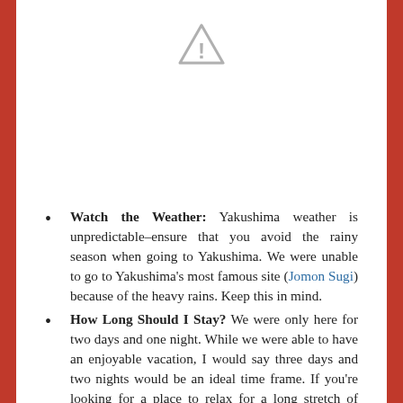[Figure (other): Warning/caution triangle icon (gray outline triangle with exclamation mark)]
Watch the Weather: Yakushima weather is unpredictable–ensure that you avoid the rainy season when going to Yakushima.  We were unable to go to Yakushima's most famous site (Jomon Sugi) because of the heavy rains.  Keep this in mind.
How Long Should I Stay?  We were only here for two days and one night.  While we were able to have an enjoyable vacation, I would say three days and two nights would be an ideal time frame.  If you're looking for a place to relax for a long stretch of time, such as one full week, this would also be a good destination